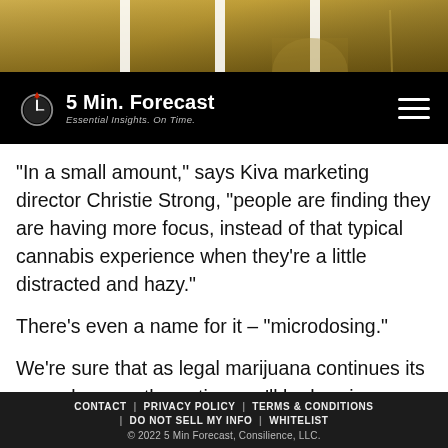[Figure (photo): Hero banner image with golden/sepia cityscape background with government building dome visible]
5 Min. Forecast — Essential Insights. On Time.
“In a small amount,” says Kiva marketing director Christie Strong, “people are finding they are having more focus, instead of that typical cannabis experience when they’re a little distracted and hazy.”
There’s even a name for it – “microdosing.”
We’re sure that as legal marijuana continues its spread across the nation, we’ll be hearing more stories like these. But it’s still dicey to invest in “penny pot stocks” unless you know what you’re doing. Fortunately, Ray
CONTACT | PRIVACY POLICY | TERMS & CONDITIONS | DO NOT SELL MY INFO | WHITELIST
© 2022 5 Min Forecast, Consilience, LLC.